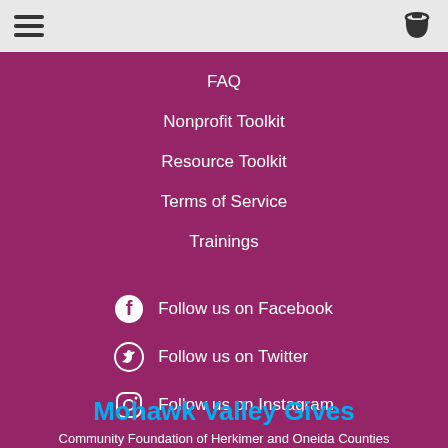[Figure (other): Navigation header bar with hamburger menu icon on the left and shopping basket icon on the right, on a light grey background]
FAQ
Nonprofit Toolkit
Resource Toolkit
Terms of Service
Trainings
Follow us on Facebook
Follow us on Twitter
Follow us on Instagram
Mohawk Valley Gives
Community Foundation of Herkimer and Oneida Counties